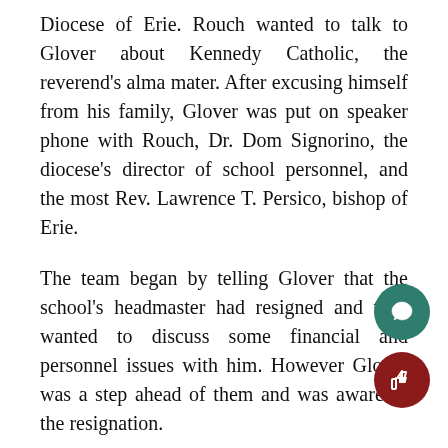Diocese of Erie. Rouch wanted to talk to Glover about Kennedy Catholic, the reverend's alma mater. After excusing himself from his family, Glover was put on speaker phone with Rouch, Dr. Dom Signorino, the diocese's director of school personnel, and the most Rev. Lawrence T. Persico, bishop of Erie.
The team began by telling Glover that the school's headmaster had resigned and they wanted to discuss some financial and personnel issues with him. However Glover was a step ahead of them and was aware of the resignation.
After some discussion, Persico offered the job interim president to Glover, which he gladly accepted as long as he could return to Ganno in the fall. The team was OK with that conditi